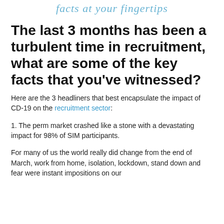facts at your fingertips
The last 3 months has been a turbulent time in recruitment, what are some of the key facts that you've witnessed?
Here are the 3 headliners that best encapsulate the impact of CD-19 on the recruitment sector:
1. The perm market crashed like a stone with a devastating impact for 98% of SIM participants.
For many of us the world really did change from the end of March, work from home, isolation, lockdown, stand down and fear were instant impositions on our